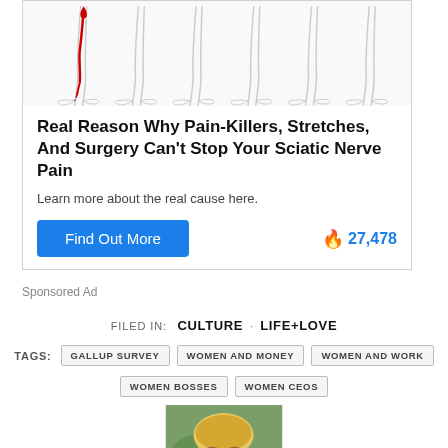[Figure (illustration): Medical illustration showing multiple views of lower legs and feet, with one leg showing a red pain indicator line along the sciatic nerve path]
Real Reason Why Pain-Killers, Stretches, And Surgery Can't Stop Your Sciatic Nerve Pain
Learn more about the real cause here.
Find Out More   🔥 27,478
Sponsored Ad
FILED IN: CULTURE · LIFE+LOVE
TAGS: GALLUP SURVEY  WOMEN AND MONEY  WOMEN AND WORK  WOMEN BOSSES  WOMEN CEOS
[Figure (photo): Portrait photo of a young blonde woman smiling, author photo]